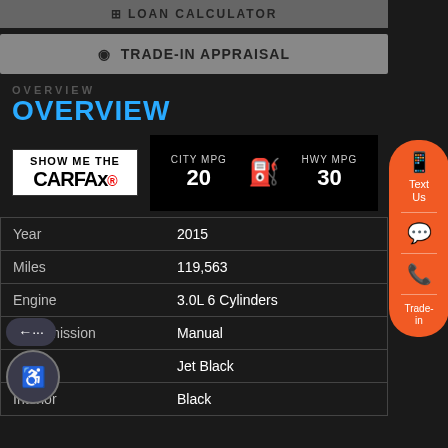LOAN CALCULATOR
TRADE-IN APPRAISAL
OVERVIEW
[Figure (logo): Show Me The CARFAX logo]
|  | CITY MPG |  | HWY MPG |
| --- | --- | --- | --- |
|  | 20 |  | 30 |
| Field | Value |
| --- | --- |
| Year | 2015 |
| Miles | 119,563 |
| Engine | 3.0L 6 Cylinders |
| Transmission | Manual |
| Exterior | Jet Black |
| Interior | Black |